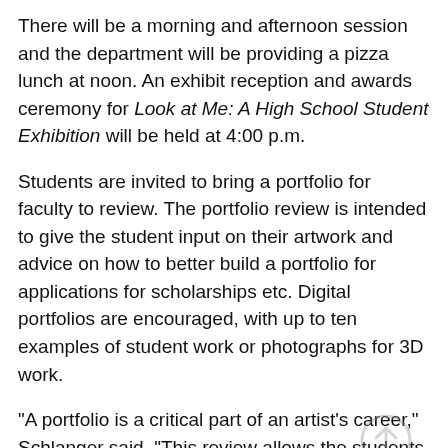There will be a morning and afternoon session and the department will be providing a pizza lunch at noon. An exhibit reception and awards ceremony for Look at Me: A High School Student Exhibition will be held at 4:00 p.m.
Students are invited to bring a portfolio for faculty to review. The portfolio review is intended to give the student input on their artwork and advice on how to better build a portfolio for applications for scholarships etc. Digital portfolios are encouraged, with up to ten examples of student work or photographs for 3D work.
"A portfolio is a critical part of an artist's career," Schlanger said. "This review allows the students to receive feedback from experienced faculty so they may apply a better portfolio to scholarships, college admission, and even jobs."
For more information about College Art Day, please go